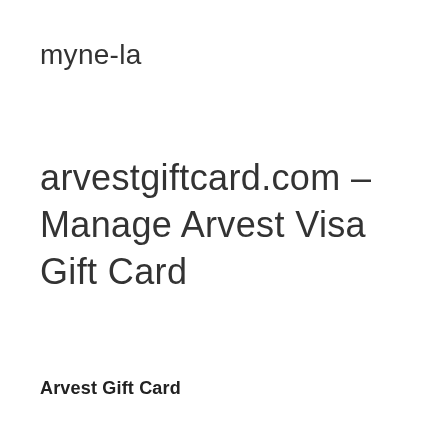myne-la
arvestgiftcard.com – Manage Arvest Visa Gift Card
Arvest Gift Card